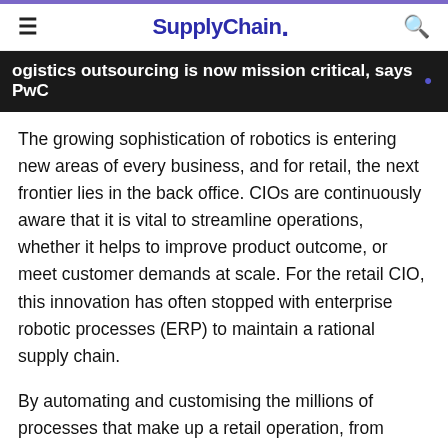SupplyChain.
ogistics outsourcing is now mission critical, says PwC
The growing sophistication of robotics is entering new areas of every business, and for retail, the next frontier lies in the back office. CIOs are continuously aware that it is vital to streamline operations, whether it helps to improve product outcome, or meet customer demands at scale. For the retail CIO, this innovation has often stopped with enterprise robotic processes (ERP) to maintain a rational supply chain.
By automating and customising the millions of processes that make up a retail operation, from financial to HR and IT, retailers can set the stage for a new era of growth. Robotising the countless repetitive tasks across these areas of the business will enable a much leaner operation overall. Not only will it benefit the wider organisation, but employees will be able to